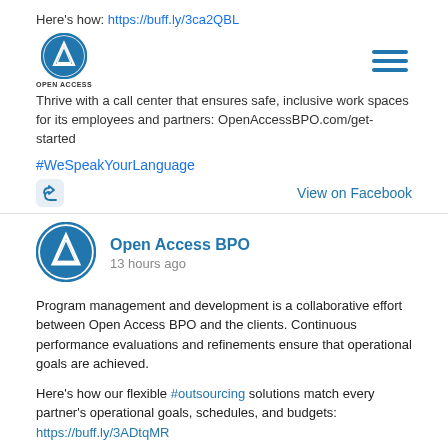Here's how: https://buff.ly/3ca2QBL
[Figure (logo): Open Access BPO logo with circular blue badge and hamburger menu icon]
Thrive with a call center that ensures safe, inclusive work spaces for its employees and partners: OpenAccessBPO.com/get-started
#WeSpeakYourLanguage
View on Facebook
[Figure (logo): Open Access BPO circular logo for post header]
Open Access BPO
13 hours ago
Program management and development is a collaborative effort between Open Access BPO and the clients. Continuous performance evaluations and refinements ensure that operational goals are achieved.
Here's how our flexible #outsourcing solutions match every partner's operational goals, schedules, and budgets: https://buff.ly/3ADtqMR